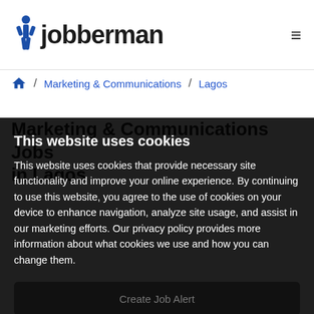Jobberman
Marketing & Communications / Lagos
Marketing & Communications Jobs in Lagos
This website uses cookies
This website uses cookies that provide necessary site functionality and improve your online experience. By continuing to use this website, you agree to the use of cookies on your device to enhance navigation, analyze site usage, and assist in our marketing efforts. Our privacy policy provides more information about what cookies we use and how you can change them.
Create Job Alert
Accept and Close
Learn More